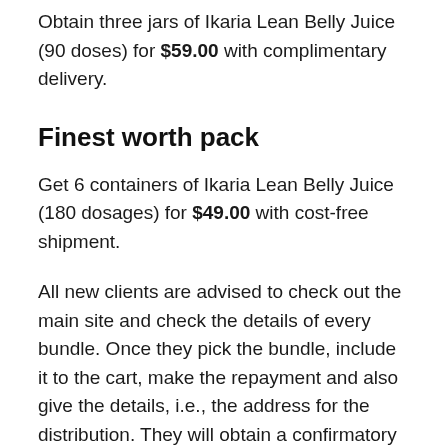Obtain three jars of Ikaria Lean Belly Juice (90 doses) for $59.00 with complimentary delivery.
Finest worth pack
Get 6 containers of Ikaria Lean Belly Juice (180 dosages) for $49.00 with cost-free shipment.
All new clients are advised to check out the main site and check the details of every bundle. Once they pick the bundle, include it to the cart, make the repayment and also give the details, i.e., the address for the distribution. They will obtain a confirmatory e-mail from the business, and their order will reach their address within a few functioning days.